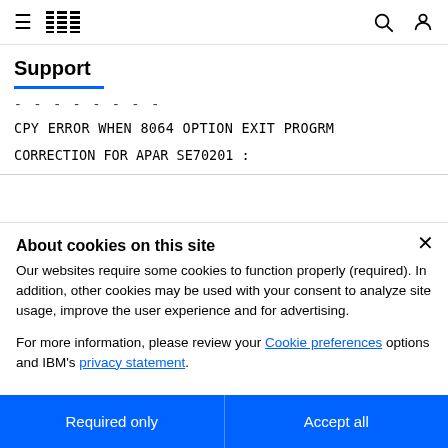IBM Support
Support
- - - - - - - -
CPY ERROR WHEN 8064 OPTION EXIT PROGRM
CORRECTION FOR APAR SE70201 :
About cookies on this site
Our websites require some cookies to function properly (required). In addition, other cookies may be used with your consent to analyze site usage, improve the user experience and for advertising.
For more information, please review your Cookie preferences options and IBM's privacy statement.
Required only
Accept all